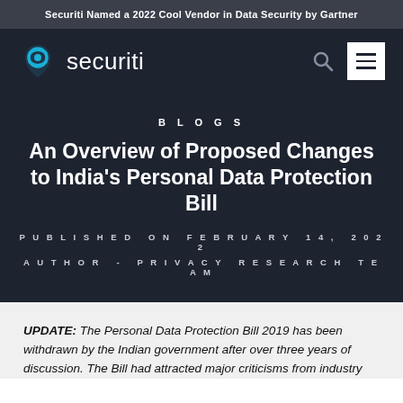Securiti Named a 2022 Cool Vendor in Data Security by Gartner
[Figure (logo): Securiti logo with teal icon and white wordmark on dark background]
BLOGS
An Overview of Proposed Changes to India's Personal Data Protection Bill
PUBLISHED ON FEBRUARY 14, 2022
AUTHOR - PRIVACY RESEARCH TEAM
UPDATE: The Personal Data Protection Bill 2019 has been withdrawn by the Indian government after over three years of discussion. The Bill had attracted major criticisms from industry